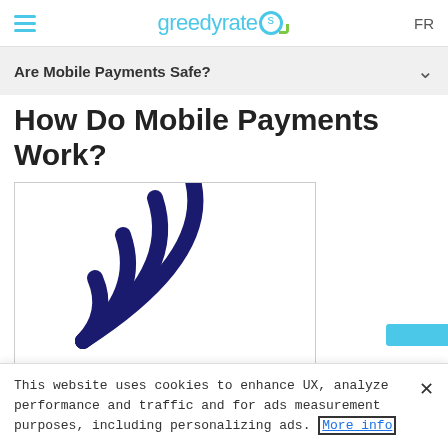greedyrates FR
Are Mobile Payments Safe?
How Do Mobile Payments Work?
[Figure (illustration): NFC / contactless payment symbol: four concentric arcs radiating from a point at bottom-left, in dark navy blue, suggesting wireless signal or tap-to-pay icon, inside a white bordered box.]
This website uses cookies to enhance UX, analyze performance and traffic and for ads measurement purposes, including personalizing ads. More info